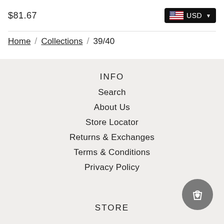$81.67
[Figure (other): US flag icon with USD currency selector button]
Home / Collections / 39/40
INFO
Search
About Us
Store Locator
Returns & Exchanges
Terms & Conditions
Privacy Policy
STORE
[Figure (other): Shopping bag with heart icon button (cart)]